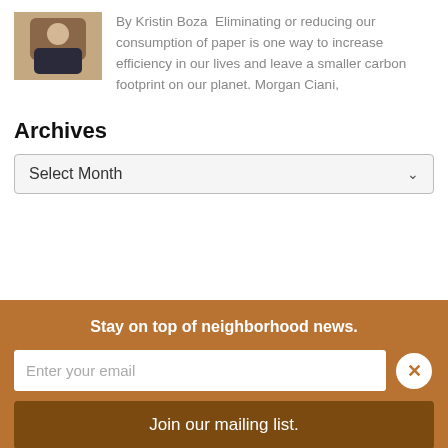[Figure (photo): Portrait photo of a blonde woman in a dark top, standing in front of a brick wall]
By Kristin Boza  Eliminating or reducing our consumption of paper is one way to increase efficiency in our lives and leave a smaller carbon footprint on our planet. Morgan Ciani,
Archives
Select Month
Stay on top of neighborhood news.
Enter your email
Join our mailing list.